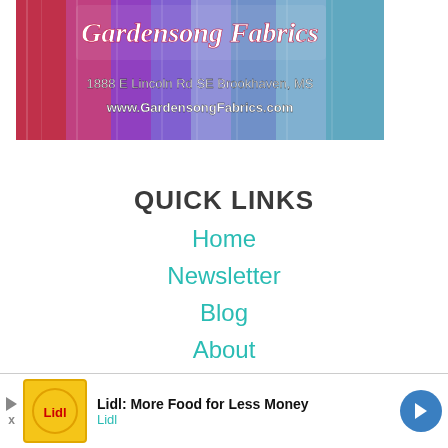[Figure (illustration): Gardensong Fabrics banner showing colorful fabric swatches with text '1888 E Lincoln Rd SE Brookhaven, MS' and 'www.GardensongFabrics.com']
QUICK LINKS
Home
Newsletter
Blog
About
Video Sewing Courses
Login
[Figure (advertisement): Lidl advertisement: 'Lidl: More Food for Less Money' with Lidl logo and navigation arrow icon]